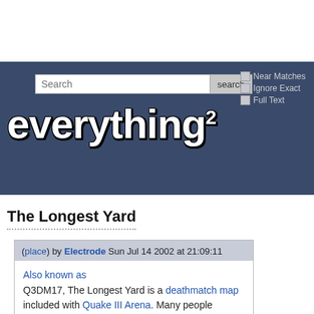[Figure (screenshot): Everything2 website header with search bar, Near Matches / Ignore Exact / Full Text checkboxes, and the Everything2 logo in white bold text on dark blue background]
The Longest Yard
(place) by Electrode Sun Jul 14 2002 at 21:09:11
Also known as Q3DM17, The Longest Yard is a deathmatch map included with Quake III Arena. Many people (myself